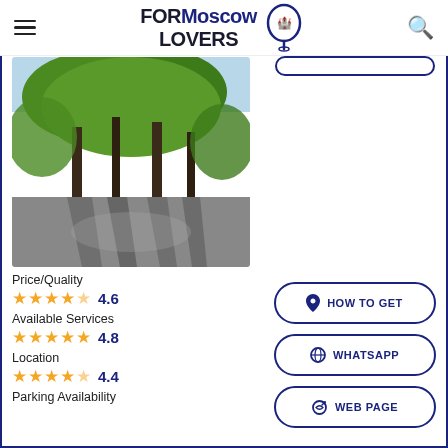FORMoscow LOVERS
[Figure (photo): Outdoor park or forest path with trees and shadows on a paved road]
Price/Quality
★★★★☆ 4.6
Available Services
★★★★★ 4.8
Location
★★★★☆ 4.4
Parking Availability
HOW TO GET
WHATSAPP
WEB PAGE